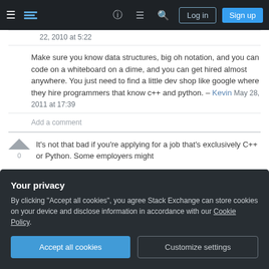Stack Exchange navigation bar with hamburger menu, logo, help, chat, search icons, Log in and Sign up buttons
22, 2010 at 5:22
Make sure you know data structures, big oh notation, and you can code on a whiteboard on a dime, and you can get hired almost anywhere. You just need to find a little dev shop like google where they hire programmers that know c++ and python. – Kevin May 28, 2011 at 17:39
Add a comment
It's not that bad if you're applying for a job that's exclusively C++ or Python. Some employers might
Your privacy
By clicking "Accept all cookies", you agree Stack Exchange can store cookies on your device and disclose information in accordance with our Cookie Policy.
Accept all cookies   Customize settings
At a might consider that a feature, familiarity with